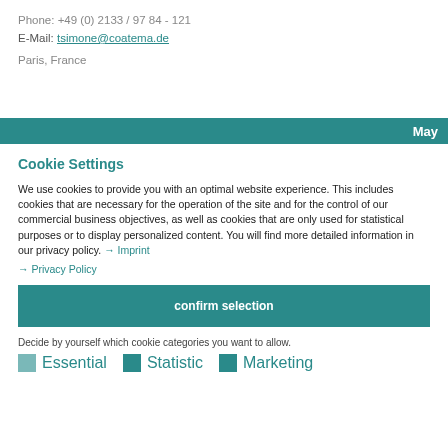Phone: +49 (0) 2133 / 97 84 - 121
E-Mail: tsimone@coatema.de
Paris, France
May
Cookie Settings
We use cookies to provide you with an optimal website experience. This includes cookies that are necessary for the operation of the site and for the control of our commercial business objectives, as well as cookies that are only used for statistical purposes or to display personalized content. You will find more detailed information in our privacy policy. → Imprint → Privacy Policy
confirm selection
Decide by yourself which cookie categories you want to allow.
Essential  Statistic  Marketing